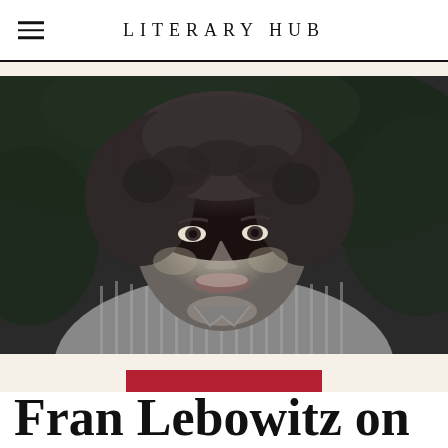LITERARY HUB
[Figure (photo): Black and white photograph of Fran Lebowitz, a woman with curly dark hair wearing a striped shirt, smiling and looking to the side, with foliage in the background.]
VIA KNOPF
Fran Lebowitz on